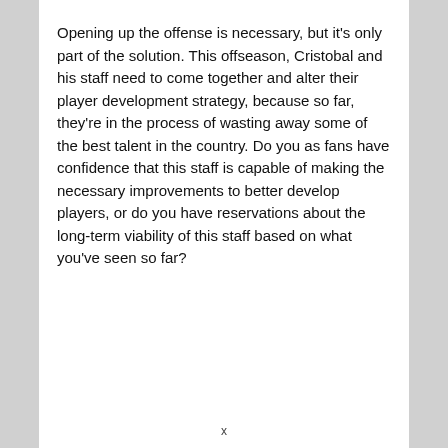Opening up the offense is necessary, but it's only part of the solution. This offseason, Cristobal and his staff need to come together and alter their player development strategy, because so far, they're in the process of wasting away some of the best talent in the country. Do you as fans have confidence that this staff is capable of making the necessary improvements to better develop players, or do you have reservations about the long-term viability of this staff based on what you've seen so far?
x